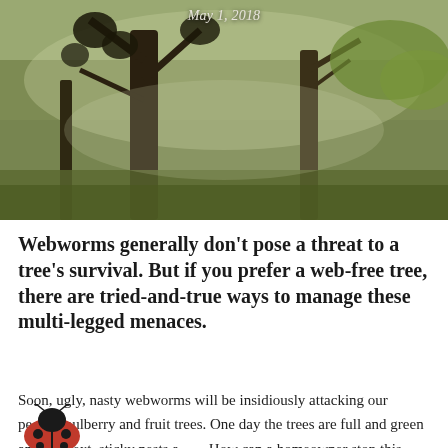[Figure (photo): Outdoor scene with trees in a park or garden, green foliage, misty/hazy background with soft natural light]
May 1, 2018
Webworms generally don't pose a threat to a tree's survival. But if you prefer a web-free tree, there are tried-and-true ways to manage these multi-legged menaces.
Soon, ugly, nasty webworms will be insidiously attacking our pecan, mulberry and fruit trees. One day the trees are full and green and the next, sticky nests a… How can a homeowner stop this multi-legged